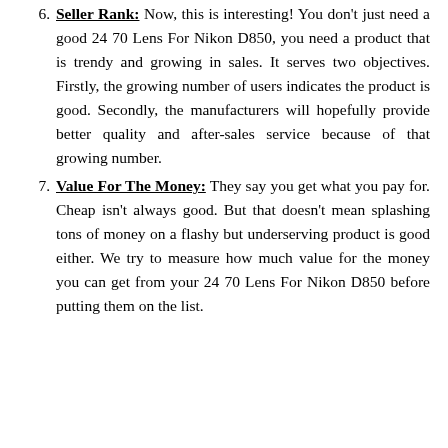Seller Rank: Now, this is interesting! You don't just need a good 24 70 Lens For Nikon D850, you need a product that is trendy and growing in sales. It serves two objectives. Firstly, the growing number of users indicates the product is good. Secondly, the manufacturers will hopefully provide better quality and after-sales service because of that growing number.
Value For The Money: They say you get what you pay for. Cheap isn't always good. But that doesn't mean splashing tons of money on a flashy but underserving product is good either. We try to measure how much value for the money you can get from your 24 70 Lens For Nikon D850 before putting them on the list.